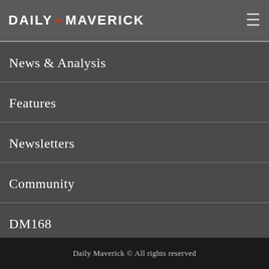DAILY MAVERICK
News & Analysis
Features
Newsletters
Community
DM168
Daily Maverick © All rights reserved